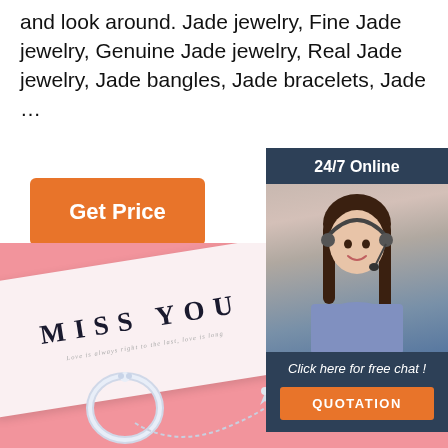and look around. Jade jewelry, Fine Jade jewelry, Genuine Jade jewelry, Real Jade jewelry, Jade bangles, Jade bracelets, Jade ...
[Figure (other): Orange 'Get Price' button]
[Figure (other): 24/7 Online chat widget with customer service representative photo, 'Click here for free chat!' text, and orange QUOTATION button]
[Figure (photo): Pink background with 'MISS YOU' greeting card and silver jewelry (ring and necklace) on a pink surface, with orange TOP badge in bottom right corner]